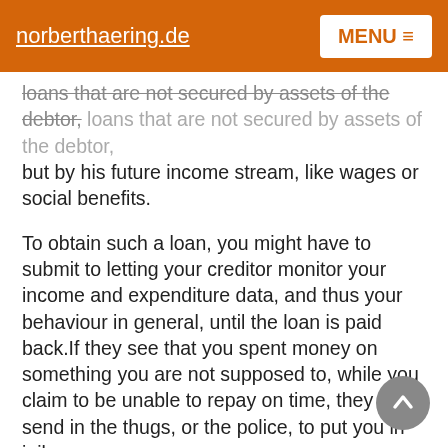norberthaering.de  MENU
loans that are not secured by assets of the debtor, but by his future income stream, like wages or social benefits.
To obtain such a loan, you might have to submit to letting your creditor monitor your income and expenditure data, and thus your behaviour in general, until the loan is paid back.If they see that you spent money on something you are not supposed to, while you claim to be unable to repay on time, they can send in the thugs, or the police, to put you in jail.
The Government and the NSA Are Looking
Of course, the government will not want private entities to be the only ones who can use this nice government-created infrastructure of surveillance.